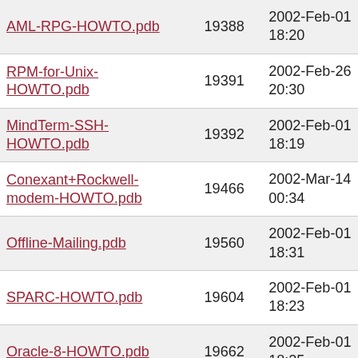| Name | Size | Date |
| --- | --- | --- |
| AML-RPG-HOWTO.pdb | 19388 | 2002-Feb-01 18:20 |
| RPM-for-Unix-HOWTO.pdb | 19391 | 2002-Feb-26 20:30 |
| MindTerm-SSH-HOWTO.pdb | 19392 | 2002-Feb-01 18:19 |
| Conexant+Rockwell-modem-HOWTO.pdb | 19466 | 2002-Mar-14 00:34 |
| Offline-Mailing.pdb | 19560 | 2002-Feb-01 18:31 |
| SPARC-HOWTO.pdb | 19604 | 2002-Feb-01 18:23 |
| Oracle-8-HOWTO.pdb | 19662 | 2002-Feb-01 18:25 |
| Wireless-HOWTO.pdb | 19699 | 2002-Feb-01 18:13 |
| VME-HOWTO.pdb | 20311 | 2002-Feb-26 20:40 |
| Install-Strategies.pdb | 20416 | 2002-Feb-01 18:20 |
| Enterprise-Java-for-Linux-HOWTO.pdb | 20492 | 2002-Feb-01 18:15 |
| Firewall-Piercing.pdb | 20497 | 2002-Feb-01 18:15 |